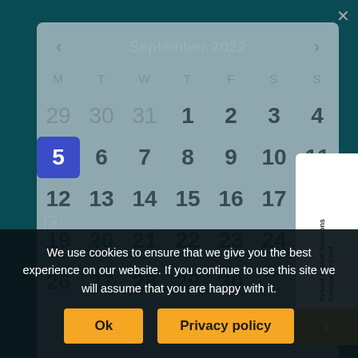September 2022
| M | T | W | T | F | S | S |
| --- | --- | --- | --- | --- | --- | --- |
| 29 | 30 | 31 | 1 | 2 | 3 | 4 |
| 5 | 6 | 7 | 8 | 9 | 10 | 11 |
| 12 | 13 | 14 | 15 | 16 | 17 | 18 |
| 19 | 20 | 21 | 22 | 23 | 24 | 25 |
| 26 | 27 | 28 | 29 | 30 | 1 | 2 |
We use cookies to ensure that we give you the best experience on our website. If you continue to use this site we will assume that you are happy with it.
There are no events on this day.
View C...
Ok
Privacy policy